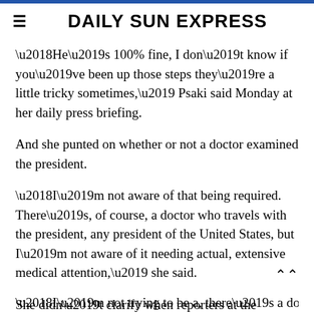DAILY SUN EXPRESS
‘He’s 100% fine, I don’t know if you’ve been up those steps they’re a little tricky sometimes,’ Psaki said Monday at her daily press briefing.
And she punted on whether or not a doctor examined the president.
‘I’m not aware of that being required. There’s, of course, a doctor who travels with the president, any president of the United States, but I’m not aware of it needing actual, extensive medical attention,’ she said.
She didn’t clarify when reporters at the briefing pointed out she didn’t say no.
‘I’m not trying to be a, there’s a doctor who travels